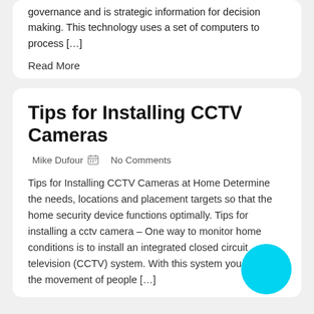governance and is strategic information for decision making. This technology uses a set of computers to process […]
Read More
Tips for Installing CCTV Cameras
Mike Dufour   No Comments
Tips for Installing CCTV Cameras at Home Determine the needs, locations and placement targets so that the home security device functions optimally. Tips for installing a cctv camera – One way to monitor home conditions is to install an integrated closed circuit television (CCTV) system. With this system you can see the movement of people […]